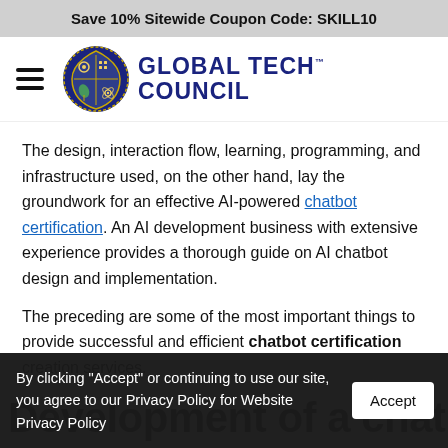Save 10% Sitewide Coupon Code: SKILL10
[Figure (logo): Global Tech Council logo with shield emblem and text 'GLOBAL TECH COUNCIL']
The design, interaction flow, learning, programming, and infrastructure used, on the other hand, lay the groundwork for an effective AI-powered chatbot certification. An AI development business with extensive experience provides a thorough guide on AI chatbot design and implementation.
The preceding are some of the most important things to provide successful and efficient chatbot certification creation services.
By clicking "Accept" or continuing to use our site, you agree to our Privacy Policy for Website Privacy Policy
Development of a chatbot